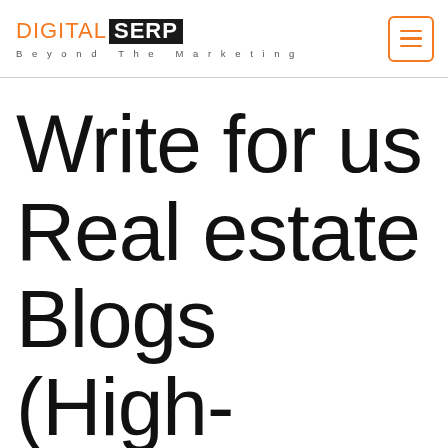DIGITAL SERP Beyond The Marketing
Write for us Real estate Blogs (High-Authority Websites)